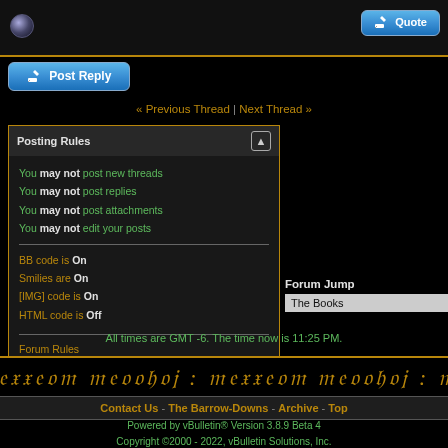[Figure (screenshot): Top bar with sphere icon and Quote button with pencil/paper icon]
[Figure (screenshot): Post Reply button with pencil/paper icon]
« Previous Thread | Next Thread »
Posting Rules
You may not post new threads
You may not post replies
You may not post attachments
You may not edit your posts
BB code is On
Smilies are On
[IMG] code is On
HTML code is Off
Forum Rules
Forum Jump
The Books
All times are GMT -6. The time now is 11:25 PM.
[Figure (illustration): Decorative Elvish/fantasy script banner in gold on black background]
Contact Us - The Barrow-Downs - Archive - Top
Powered by vBulletin® Version 3.8.9 Beta 4
Copyright ©2000 - 2022, vBulletin Solutions, Inc.